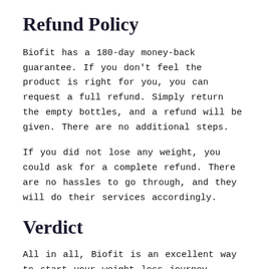Refund Policy
Biofit has a 180-day money-back guarantee. If you don't feel the product is right for you, you can request a full refund. Simply return the empty bottles, and a refund will be given. There are no additional steps.
If you did not lose any weight, you could ask for a complete refund. There are no hassles to go through, and they will do their services accordingly.
Verdict
All in all, Biofit is an excellent way to start your weight loss journey.
If you have pre-existing conditions, it's advisable not to take the pill to avoid any side effects. The stomach's ability to